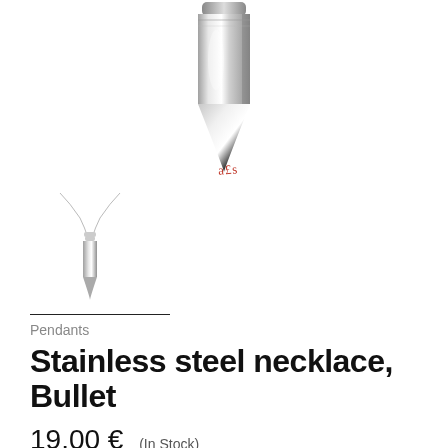[Figure (photo): Close-up photo of a shiny stainless steel bullet-shaped pendant, showing the pointed tip and cylindrical body with reflective chrome finish, viewed from above on white background.]
[Figure (photo): Small thumbnail image of the full bullet pendant necklace with chain, showing the complete jewelry piece on white background.]
Pendants
Stainless steel necklace, Bullet
19.00 €  (In Stock)